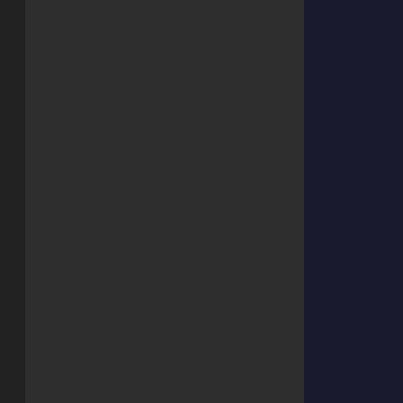as des by man sim doe exis and ther the pote of dan as a res of play our "par in life (pre by Goc